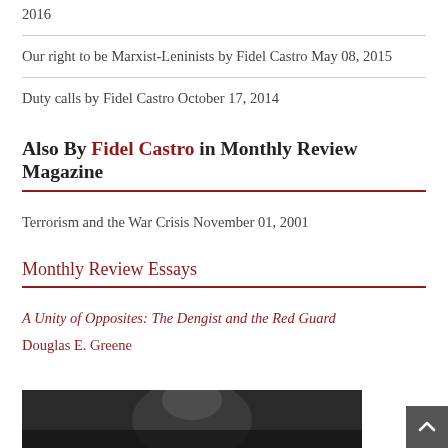2016
Our right to be Marxist-Leninists by Fidel Castro May 08, 2015
Duty calls by Fidel Castro October 17, 2014
Also By Fidel Castro in Monthly Review Magazine
Terrorism and the War Crisis November 01, 2001
Monthly Review Essays
A Unity of Opposites: The Dengist and the Red Guard
Douglas E. Greene
[Figure (photo): Black and white photograph of a person, partially visible at bottom of page]